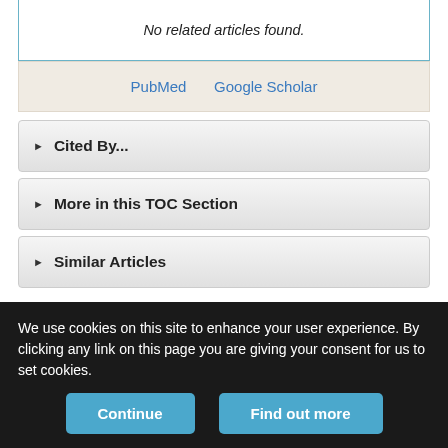No related articles found.
PubMed   Google Scholar
▶ Cited By...
▶ More in this TOC Section
▶ Similar Articles
We recommend
Family Planning in the Democratic Republic of the Congo: Encouraging Momentum, Formidable Challenges
We use cookies on this site to enhance your user experience. By clicking any link on this page you are giving your consent for us to set cookies.